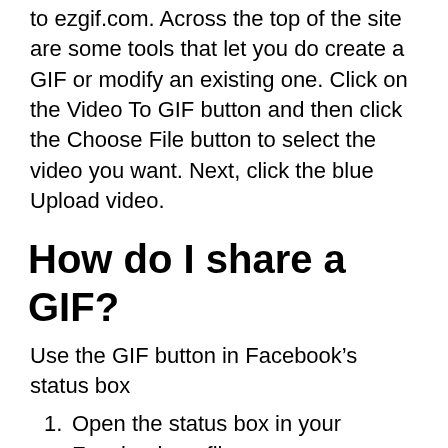to ezgif.com. Across the top of the site are some tools that let you do create a GIF or modify an existing one. Click on the Video To GIF button and then click the Choose File button to select the video you want. Next, click the blue Upload video.
How do I share a GIF?
Use the GIF button in Facebook’s status box
Open the status box in your Facebook profile.
Click the GIF icon to search for and select a GIF from the GIF library.
Once the GIF is selected, the GIF will attach to your Facebook post.
Once you’re finished with your post,